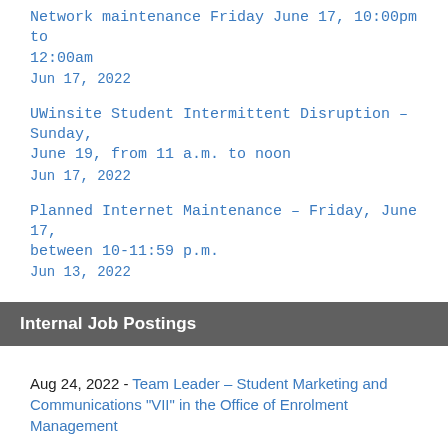Network maintenance Friday June 17, 10:00pm to 12:00am
Jun 17, 2022
UWinsite Student Intermittent Disruption – Sunday, June 19, from 11 a.m. to noon
Jun 17, 2022
Planned Internet Maintenance – Friday, June 17, between 10-11:59 p.m.
Jun 13, 2022
Internal Job Postings
Aug 24, 2022 - Team Leader – Student Marketing and Communications "VII" in the Office of Enrolment Management
Internal/External Job Postings